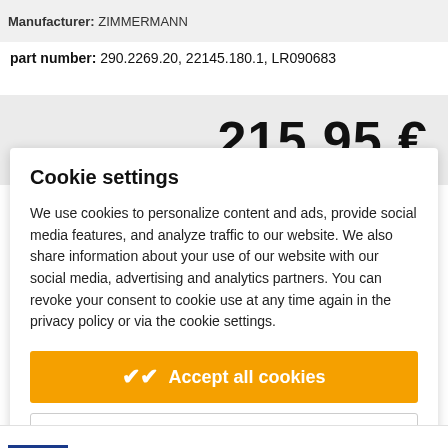Manufacturer: ZIMMERMANN
part number: 290.2269.20, 22145.180.1, LR090683
215.95 €
Cookie settings
We use cookies to personalize content and ads, provide social media features, and analyze traffic to our website. We also share information about your use of our website with our social media, advertising and analytics partners. You can revoke your consent to cookie use at any time again in the privacy policy or via the cookie settings.
✔ Accept all cookies
⚙ Cookie settings